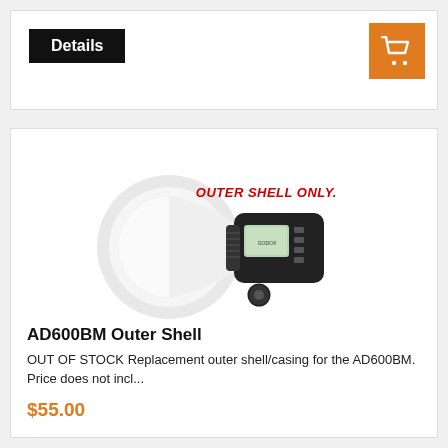Details
[Figure (photo): AD600BM Outer Shell product photo showing a camera flash unit (outer shell only) with a white reflector cone and black body with LCD display. Red italic text overlay reads OUTER SHELL ONLY.]
AD600BM Outer Shell
OUT OF STOCK Replacement outer shell/casing for the AD600BM. Price does not incl...
$55.00